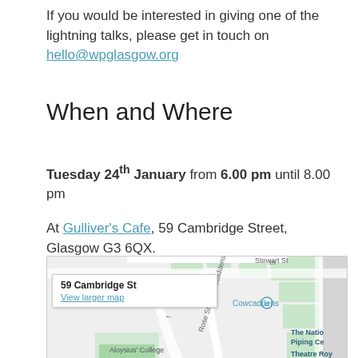If you would be interested in giving one of the lightning talks, please get in touch on hello@wpglasgow.org
When and Where
Tuesday 24th January from 6.00 pm until 8.00 pm
At Gulliver's Cafe, 59 Cambridge Street, Glasgow G3 6QX.
[Figure (map): Google Maps screenshot showing 59 Cambridge St area in Glasgow with a popup showing '59 Cambridge St' and 'View larger map', streets including Rose St, Cowcaddens underground station, Aloysius' College, The National Piping Centre, and Theatre Royal visible.]